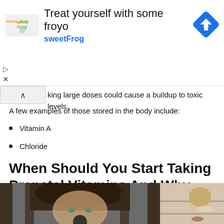[Figure (screenshot): sweetFrog ad banner: 'Treat yourself with some froyo' with sweetFrog logo and navigation icon]
king large doses could cause a buildup to toxic levels.
A few examples of those stored in the body include:
Vitamin A
Chloride
When Should You Start Taking Prenatal Vitamins And Why
[Figure (photo): Photo of a woman with dark hair looking at camera, split with a shelf/home goods visible on the right side]